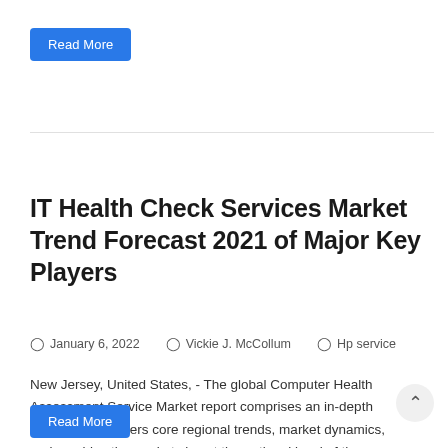Read More
IT Health Check Services Market Trend Forecast 2021 of Major Key Players
January 6, 2022   Vickie J. McCollum   Hp service
New Jersey, United States, - The global Computer Health Assessment Service Market report comprises an in-depth analysis that covers core regional trends, market dynamics, and provides the market size at the national level of the market industry. Some major aspects…
Read More